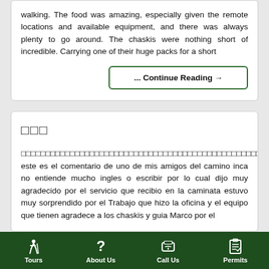walking. The food was amazing, especially given the remote locations and available equipment, and there was always plenty to go around. The chaskis were nothing short of incredible. Carrying one of their huge packs for a short
... Continue Reading →
□□□
□□□□□□□□□□□□□□□□□□□□□□□□□□□□□□□□□□□□□□□□□□□□□□□□□□□□□□□□□□□□□□□□□□□□□□□□□□□□□□□□□□□□□□□□□□□□□□□Marco□□□□hola este es el comentario de uno de mis amigos del camino inca no entiende mucho ingles o escribir por lo cual dijo muy agradecido por el servicio que recibio en la caminata estuvo muy sorprendido por el Trabajo que hizo la oficina y el equipo que tienen agradece a los chaskis y guia Marco por el
Tours | About Us | Call Us | Permits